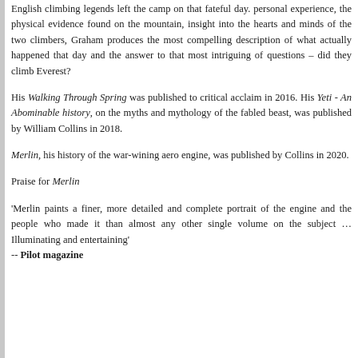English climbing legends left the camp on that fateful day. personal experience, the physical evidence found on the mountain, insight into the hearts and minds of the two climbers, Grahamproduces the most compelling description of what actually happened that day and the answer to that most intriguing of questions – did they climb Everest?
His Walking Through Spring was published to critical acclaim in 2016. His Yeti - An Abominable history, on the myths and mythology of the fabled beast, was published by William Collins in 2018.
Merlin, his history of the war-wining aero engine, was published by Collins in 2020.
Praise for Merlin
'Merlin paints a finer, more detailed and complete portrait of the engine and the people who made it than almost any other single volume on the subject …Illuminating and entertaining' -- Pilot magazine